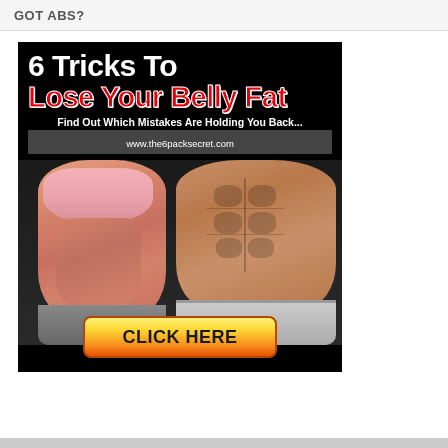GOT ABS?
[Figure (infographic): Advertisement image with black background showing two fitness models (female with pink sports bra, male with visible abs). Text reads '6 Tricks To Lose Your Belly Fat - Find Out Which Mistakes Are Holding You Back... www.the6packsecret.com' with a yellow-orange 'CLICK HERE' button at bottom.]